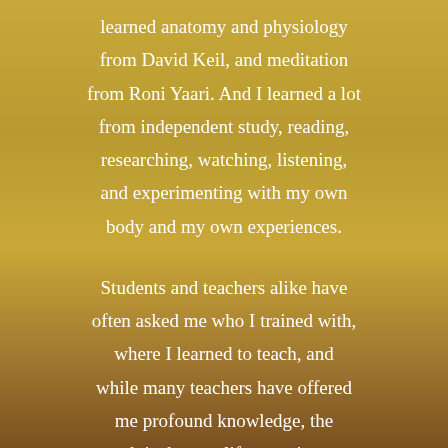learned anatomy and physiology from David Keil, and meditation from Roni Yaari. And I learned a lot from independent study, reading, researching, watching, listening, and experimenting with my own body and my own experiences.

Students and teachers alike have often asked me who I trained with, where I learned to teach, and while many teachers have offered me profound knowledge, the truth is that my life experiences have been the teacher all along. I was born an inquisitive soul with a mind that attempts to